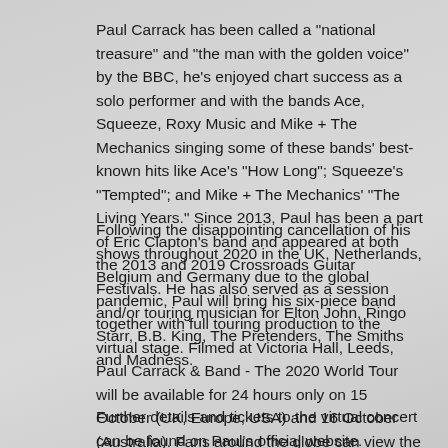Paul Carrack has been called a "national treasure" and "the man with the golden voice" by the BBC, he's enjoyed chart success as a solo performer and with the bands Ace, Squeeze, Roxy Music and Mike + The Mechanics singing some of these bands' best-known hits like Ace's "How Long"; Squeeze's "Tempted"; and Mike + The Mechanics' "The Living Years." Since 2013, Paul has been a part of Eric Clapton's band and appeared at both the 2013 and 2019 Crossroads Guitar Festivals. He has also served as a session and/or touring musician for Elton John, Ringo Starr, B.B. King, The Pretenders, The Smiths and Madness.
Following the disappointing cancellation of his shows throughout 2020 in the UK, Netherlands, Belgium and Germany due to the global pandemic, Paul will bring his six-piece band together with full touring production to the virtual stage. Filmed at Victoria Hall, Leeds, Paul Carrack & Band - The 2020 World Tour will be available for 24 hours only on 15 October (UK, Europe, USA) and 16 October (Australia). Fans around the globe can view the concert at 8:30pm in these time zones.
Further details and tickets to the virtual concert can be found on Paul's official website.